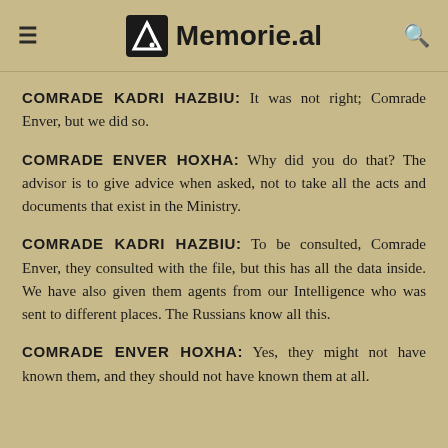Memorie.al
COMRADE KADRI HAZBIU: It was not right; Comrade Enver, but we did so.
COMRADE ENVER HOXHA: Why did you do that? The advisor is to give advice when asked, not to take all the acts and documents that exist in the Ministry.
COMRADE KADRI HAZBIU: To be consulted, Comrade Enver, they consulted with the file, but this has all the data inside. We have also given them agents from our Intelligence who was sent to different places. The Russians know all this.
COMRADE ENVER HOXHA: Yes, they might not have known them, and they should not have known them at all.